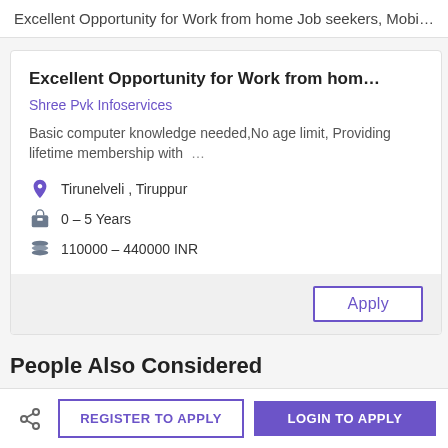Excellent Opportunity for Work from home Job seekers, Mobile...
Excellent Opportunity for Work from hom...
Shree Pvk Infoservices
Basic computer knowledge needed,No age limit, Providing lifetime membership with ...
Tirunelveli , Tiruppur
0 - 5 Years
110000 - 440000 INR
Exceller
Shree Pvk
Basic co limit, Pro
Trich
0 - 5
11000
People Also Considered
REGISTER TO APPLY
LOGIN TO APPLY